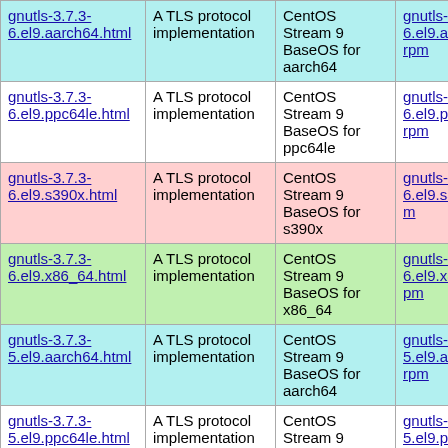| Name | Description | Distribution | RPM |
| --- | --- | --- | --- |
| gnutls-3.7.3-6.el9.aarch64.html | A TLS protocol implementation | CentOS Stream 9 BaseOS for aarch64 | gnutls-3.7.3-6.el9.aarch64.rpm |
| gnutls-3.7.3-6.el9.ppc64le.html | A TLS protocol implementation | CentOS Stream 9 BaseOS for ppc64le | gnutls-3.7.3-6.el9.ppc64le.rpm |
| gnutls-3.7.3-6.el9.s390x.html | A TLS protocol implementation | CentOS Stream 9 BaseOS for s390x | gnutls-3.7.3-6.el9.s390x.rpm |
| gnutls-3.7.3-6.el9.x86_64.html | A TLS protocol implementation | CentOS Stream 9 BaseOS for x86_64 | gnutls-3.7.3-6.el9.x86_64.rpm |
| gnutls-3.7.3-5.el9.aarch64.html | A TLS protocol implementation | CentOS Stream 9 BaseOS for aarch64 | gnutls-3.7.3-5.el9.aarch64.rpm |
| gnutls-3.7.3-5.el9.ppc64le.html | A TLS protocol implementation | CentOS Stream 9 BaseOS for ppc64le | gnutls-3.7.3-5.el9.ppc64le.rpm |